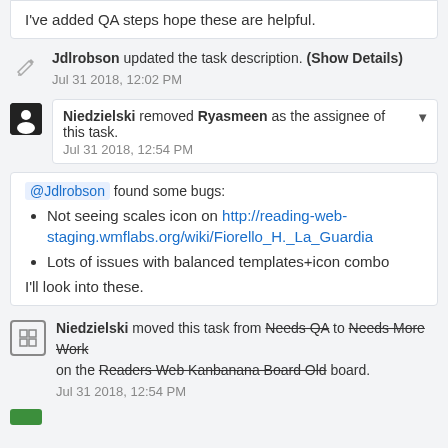Jdlrobson updated the task description. (Show Details)
I've added QA steps hope these are helpful.
Jdlrobson updated the task description. (Show Details) Jul 31 2018, 12:02 PM
Niedzielski removed Ryasmeen as the assignee of this task. Jul 31 2018, 12:54 PM
@Jdlrobson found some bugs:
Not seeing scales icon on http://reading-web-staging.wmflabs.org/wiki/Fiorello_H._La_Guardia
Lots of issues with balanced templates+icon combo
I'll look into these.
Niedzielski moved this task from Needs QA to Needs More Work on the Readers Web Kanbanana Board Old board. Jul 31 2018, 12:54 PM